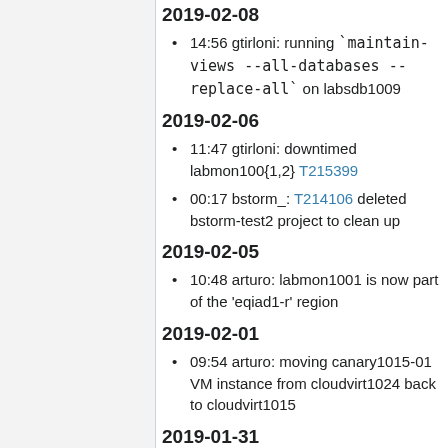2019-02-08
14:56 gtirloni: running `maintain-views --all-databases --replace-all` on labsdb1009
2019-02-06
11:47 gtirloni: downtimed labmon100{1,2} T215399
00:17 bstorm_: T214106 deleted bstorm-test2 project to clean up
2019-02-05
10:48 arturo: labmon1001 is now part of the 'eqiad1-r' region
2019-02-01
09:54 arturo: moving canary1015-01 VM instance from cloudvirt1024 back to cloudvirt1015
2019-01-31